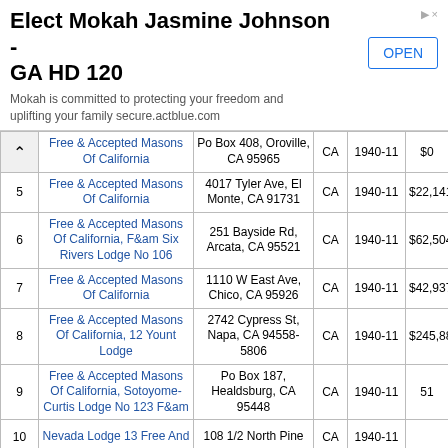[Figure (other): Advertisement banner for 'Elect Mokah Jasmine Johnson - GA HD 120' with an OPEN button]
| # | Name | Address | State | Code | Amount |
| --- | --- | --- | --- | --- | --- |
|  | Free & Accepted Masons Of California | Po Box 408, Oroville, CA 95965 | CA | 1940-11 | $0 |
| 5 | Free & Accepted Masons Of California | 4017 Tyler Ave, El Monte, CA 91731 | CA | 1940-11 | $22,141 |
| 6 | Free & Accepted Masons Of California, F&am Six Rivers Lodge No 106 | 251 Bayside Rd, Arcata, CA 95521 | CA | 1940-11 | $62,504 |
| 7 | Free & Accepted Masons Of California | 1110 W East Ave, Chico, CA 95926 | CA | 1940-11 | $42,937 |
| 8 | Free & Accepted Masons Of California, 12 Yount Lodge | 2742 Cypress St, Napa, CA 94558-5806 | CA | 1940-11 | $245,888 |
| 9 | Free & Accepted Masons Of California, Sotoyome-Curtis Lodge No 123 F&am | Po Box 187, Healdsburg, CA 95448 | CA | 1940-11 | $301,51[obscured] |
| 10 | Nevada Lodge 13 Free And | 108 1/2 North Pine ... | CA | 1940-11 | $201,5[obscured] |